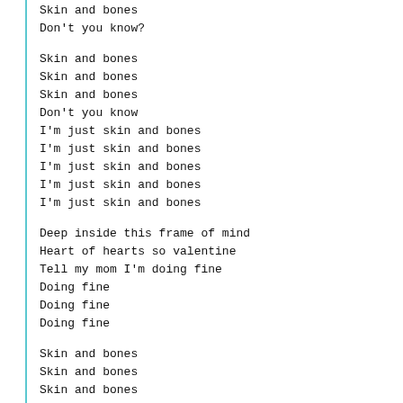Skin and bones
Don't you know?

Skin and bones
Skin and bones
Skin and bones
Don't you know
I'm just skin and bones
I'm just skin and bones
I'm just skin and bones
I'm just skin and bones
I'm just skin and bones

Deep inside this frame of mind
Heart of hearts so valentine
Tell my mom I'm doing fine
Doing fine
Doing fine
Doing fine

Skin and bones
Skin and bones
Skin and bones
Don't you know

Skin and bones